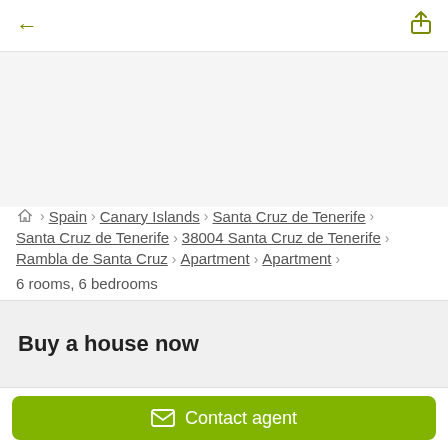← [back] [share]
[Figure (photo): Property photo placeholder area (light grey background)]
🏠 > Spain > Canary Islands > Santa Cruz de Tenerife > Santa Cruz de Tenerife > 38004 Santa Cruz de Tenerife > Rambla de Santa Cruz > Apartment > Apartment
6 rooms, 6 bedrooms
Buy a house now
✉ Contact agent